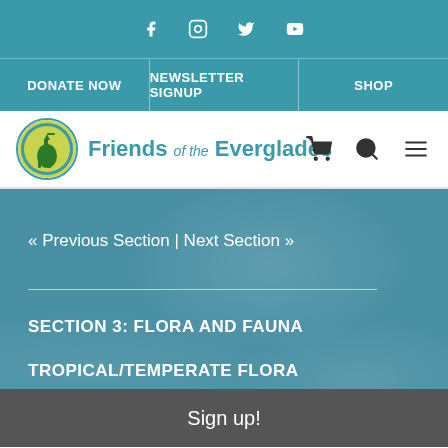Social media icons: Facebook, Instagram, Twitter, YouTube
DONATE NOW | NEWSLETTER SIGNUP | SHOP
[Figure (logo): Friends of the Everglades logo with heron bird inside yellow-green circle]
« Previous Section | Next Section »
SECTION 3: FLORA AND FAUNA
TROPICAL/TEMPERATE FLORA
INVERTEBRATES
Sign up!